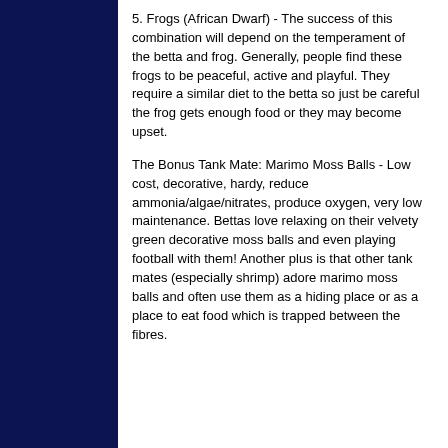5. Frogs (African Dwarf) - The success of this combination will depend on the temperament of the betta and frog. Generally, people find these frogs to be peaceful, active and playful. They require a similar diet to the betta so just be careful the frog gets enough food or they may become upset.
The Bonus Tank Mate: Marimo Moss Balls - Low cost, decorative, hardy, reduce ammonia/algae/nitrates, produce oxygen, very low maintenance. Bettas love relaxing on their velvety green decorative moss balls and even playing football with them! Another plus is that other tank mates (especially shrimp) adore marimo moss balls and often use them as a hiding place or as a place to eat food which is trapped between the fibres.